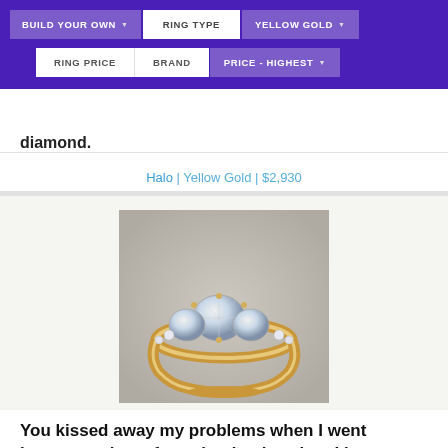BUILD YOUR OWN | RING TYPE | YELLOW GOLD | RING PRICE | BRAND | PRICE - HIGHEST
diamond.
Halo | Yellow Gold | $2,930
[Figure (photo): A yellow gold three-stone diamond engagement ring with pavé set diamonds on the band, photographed on a gray background.]
You kissed away my problems when I went insane, took me from the depths when I lost my name. How can you show just how much she means to you? Well, take a closer look at this